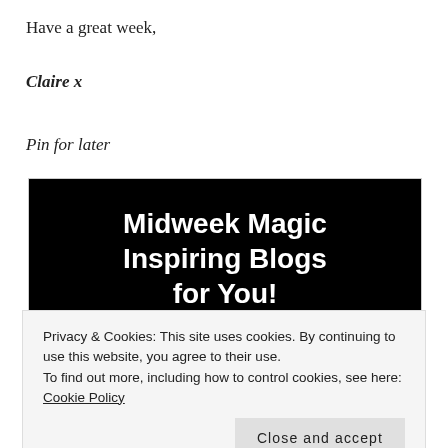Have a great week,
Claire x
Pin for later
[Figure (illustration): Black background image with white bold text reading 'Midweek Magic Inspiring Blogs for You!' with a photo section below showing a person.]
Privacy & Cookies: This site uses cookies. By continuing to use this website, you agree to their use.
To find out more, including how to control cookies, see here: Cookie Policy
Close and accept